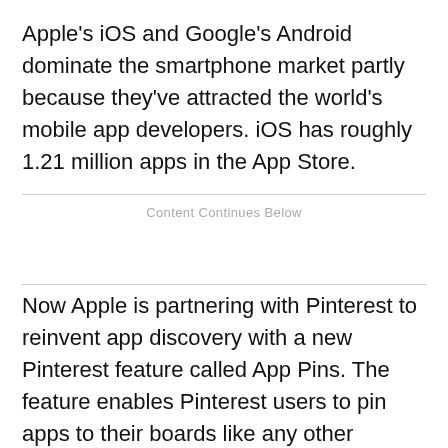Apple's iOS and Google's Android dominate the smartphone market partly because they've attracted the world's mobile app developers. iOS has roughly 1.21 million apps in the App Store.
Content Continues Below
Now Apple is partnering with Pinterest to reinvent app discovery with a new Pinterest feature called App Pins. The feature enables Pinterest users to pin apps to their boards like any other content, but with apps downloadable directly from Pinterest.